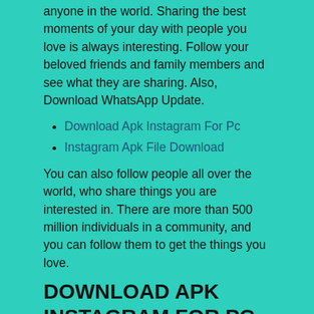anyone in the world. Sharing the best moments of your day with people you love is always interesting. Follow your beloved friends and family members and see what they are sharing. Also, Download WhatsApp Update.
Download Apk Instagram For Pc
Instagram Apk File Download
You can also follow people all over the world, who share things you are interested in. There are more than 500 million individuals in a community, and you can follow them to get the things you love.
DOWNLOAD APK INSTAGRAM FOR PC
Instagram allows you to share photos and videos and I suggest you download Instagram APK for Android. It allows you to share all the moments of your day with